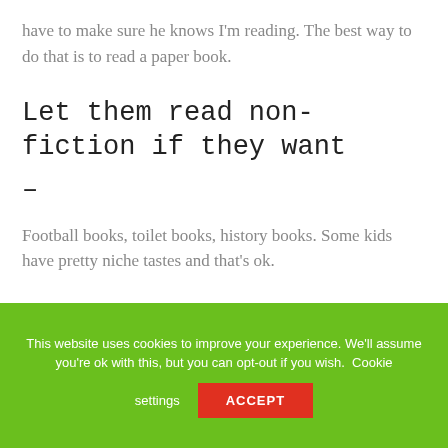have to make sure he knows I'm reading. The best way to do that is to read a paper book.
Let them read non-fiction if they want
–
Football books, toilet books, history books. Some kids have pretty niche tastes and that's ok.
This website uses cookies to improve your experience. We'll assume you're ok with this, but you can opt-out if you wish. Cookie settings ACCEPT